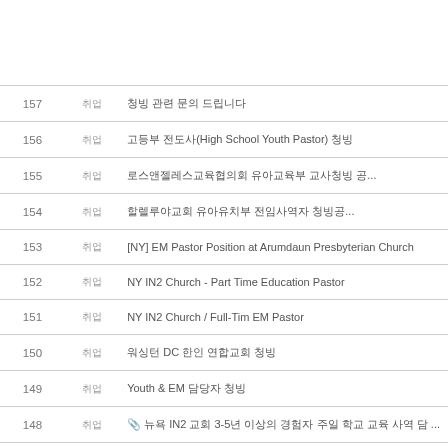| 번호 | 분류 | 제목 |
| --- | --- | --- |
| 157 | 취업 | 청빙 관련 문의 드립니다 |
| 156 | 취업 | 고등부 전도사(High School Youth Pastor) 청빙 |
| 155 | 취업 | 로스앤젤레스교육협의회 유아교육부 교사청빙 공... |
| 154 | 취업 | 할렐루야교회 유아유치부 전임사역자 청빙공... |
| 153 | 취업 | [NY] EM Pastor Position at Arumdaun Presbyterian Church |
| 152 | 취업 | NY IN2 Church - Part Time Education Pastor |
| 151 | 취업 | NY IN2 Church / Full-Tim EM Pastor |
| 150 | 취업 | 워싱턴 DC 한인 연합교회 청빙 |
| 149 | 취업 | Youth & EM 담당자 청빙 |
| 148 | 취업 | 📎 뉴욕 IN2 교회 3-5년 이상의 경험자 주일 학교 교육 사역 담... |
| 147 | 취업 | 뉴욕한인교회 전도사청빙 |